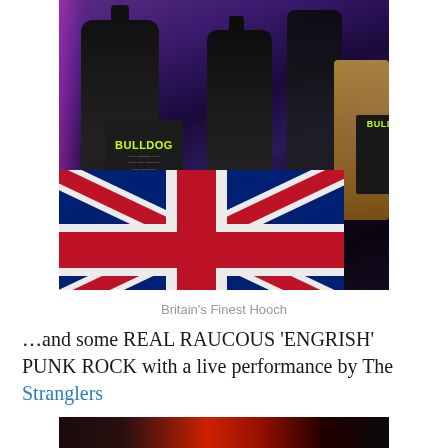[Figure (photo): Photo of Bulldog Gin bottles (dark glass with bright green BULLDOG label) arranged on a surface with a Union Jack flag/coasters in the foreground, purple ambient lighting.]
Britain's Finest Hooch
…and some REAL RAUCOUS 'ENGRISH' PUNK ROCK with a live performance by The Stranglers
[Figure (photo): Partial photo at bottom, dark background with reddish stage lighting.]